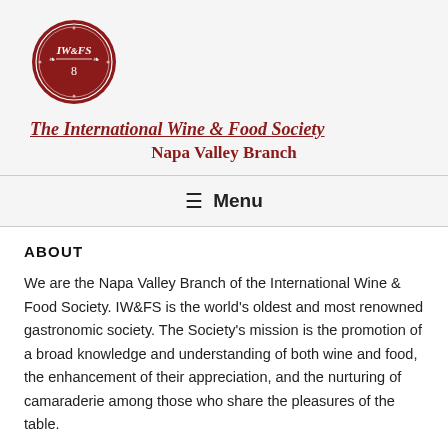[Figure (logo): Circular IWFS logo in dark red with text 'IW&FS' in the center surrounded by a decorative border and wheat/floral motifs]
The International Wine & Food Society
Napa Valley Branch
≡ Menu
ABOUT
We are the Napa Valley Branch of the International Wine & Food Society. IW&FS is the world's oldest and most renowned gastronomic society. The Society's mission is the promotion of a broad knowledge and understanding of both wine and food, the enhancement of their appreciation, and the nurturing of camaraderie among those who share the pleasures of the table.